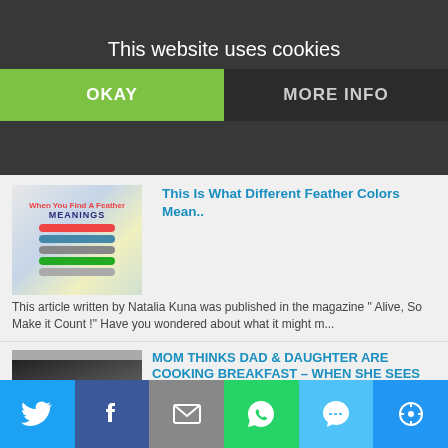This website uses cookies
OKAY
MORE INFO
This Is What Different Feather Colors Mean..
This article written by Natalia Kuna was published in the magazine " Alive, So Make it Count !" Have you wondered about what it might m...
MOM THINKS DAD & DAUGHTER ARE COOKING BREAKFAST – WHEN SHE SEES THIS, SHE'S KNOCKED BREATHLESS
Here we have a mom who walks into the kitchen to find something very special going on. It's a father and daughter slow-dance to Ed Shee...
Prepare Yourselves, as Mercury Is About to Go Retrograde For The First Time This Year